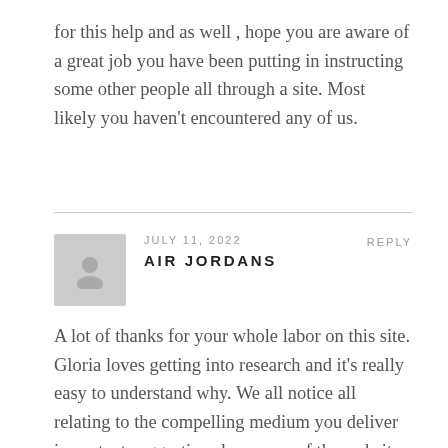for this help and as well , hope you are aware of a great job you have been putting in instructing some other people all through a site. Most likely you haven't encountered any of us.
JULY 11, 2022   REPLY
AIR JORDANS
A lot of thanks for your whole labor on this site. Gloria loves getting into research and it's really easy to understand why. We all notice all relating to the compelling medium you deliver important suggestions by means of the website and invigorate participation from website visitors on this area of interest while our own girl is truly discovering a lot of things. Take advantage of the rest of the new year